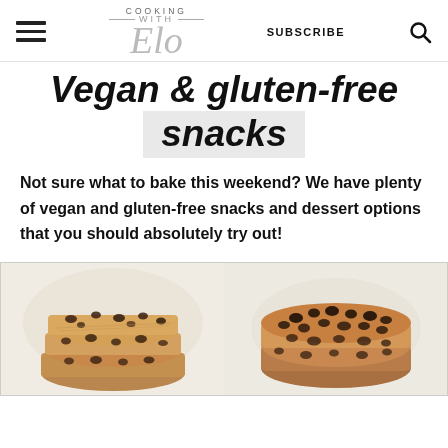COOKING WITH Elo | SUBSCRIBE | [search icon]
Vegan & gluten-free snacks
Not sure what to bake this weekend? We have plenty of vegan and gluten-free snacks and dessert options that you should absolutely try out!
[Figure (photo): Two stacked chocolate chip oat cookies on a white background, left photo]
[Figure (photo): Chocolate chip topped baked cookie/brownie on a white background, right photo]